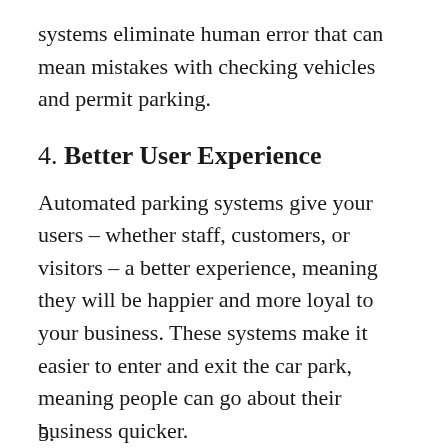systems eliminate human error that can mean mistakes with checking vehicles and permit parking.
4. Better User Experience
Automated parking systems give your users – whether staff, customers, or visitors – a better experience, meaning they will be happier and more loyal to your business. These systems make it easier to enter and exit the car park, meaning people can go about their business quicker.
5. (partial, cut off at bottom)